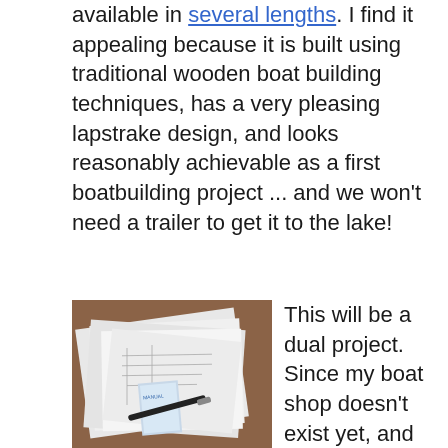available in several lengths. I find it appealing because it is built using traditional wooden boat building techniques, has a very pleasing lapstrake design, and looks reasonably achievable as a first boatbuilding project ... and we won't need a trailer to get it to the lake!
[Figure (photo): Photo of boat building plans and papers spread on a table with a pen]
This will be a dual project. Since my boat shop doesn't exist yet, and it's cold out there, I'll build a model first